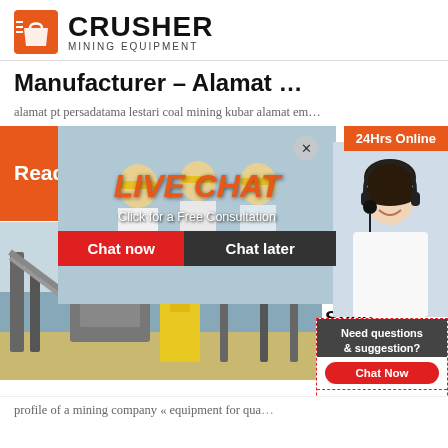[Figure (logo): Crusher Mining Equipment logo with red shopping bag icon and bold CRUSHER text]
Manufacturer – Alamat …
alamat pt persadatama lestari coal mining kubar alamat em…
[Figure (photo): Orange Read More button strip]
[Figure (photo): Live Chat popup overlay with workers photo, LIVE CHAT title, Chat now and Chat later buttons, customer service agent photo, and 24Hrs Online banner]
[Figure (photo): Mining plant / conveyor belt equipment photo]
Portable Impact Crusher Specifications
[Figure (screenshot): Side panel with Need questions & suggestion? Chat Now button, Enquiry link, and limingjlmofen@sina.com email]
profile of a mining company « equipment for quality …